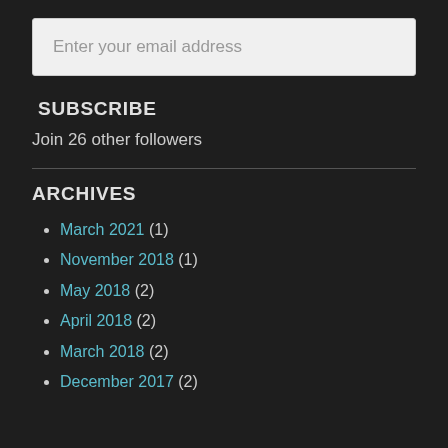Enter your email address
SUBSCRIBE
Join 26 other followers
ARCHIVES
March 2021 (1)
November 2018 (1)
May 2018 (2)
April 2018 (2)
March 2018 (2)
December 2017 (2)